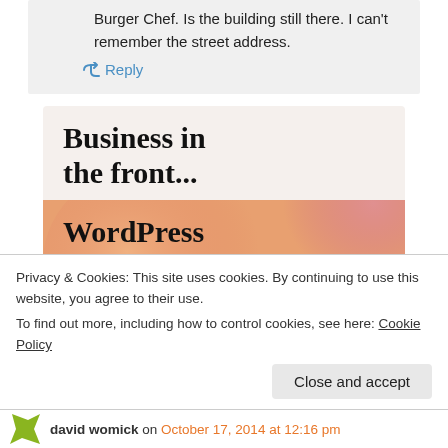Burger Chef. Is the building still there. I can't remember the street address.
↳ Reply
[Figure (illustration): WordPress advertisement banner with two sections: top section on light beige background with bold serif text 'Business in the front...' and bottom section with peach/salmon gradient background with decorative circles and bold serif text 'WordPress in the back.']
Privacy & Cookies: This site uses cookies. By continuing to use this website, you agree to their use.
To find out more, including how to control cookies, see here: Cookie Policy
Close and accept
david womick on October 17, 2014 at 12:16 pm